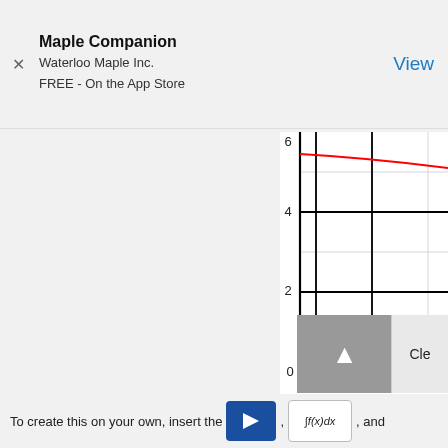Maple Companion
Waterloo Maple Inc.
FREE - On the App Store
[Figure (continuous-plot): Partial view of a coordinate graph with x-axis (0 to 4+) and y-axis (0 to 6). A red decreasing curve runs from upper left to right at approximately y=5.4 to y=5.1. A blue dot is plotted at approximately (1, 0.3).]
To create this on your own, insert the , ∫f(x)dx , and